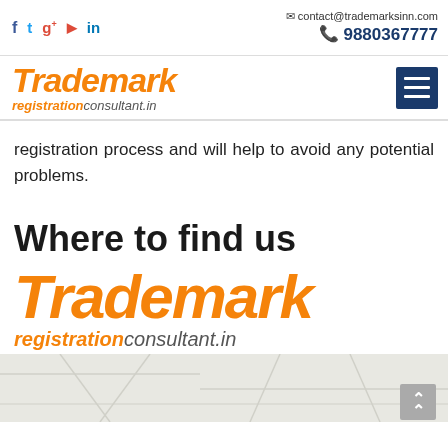f  t  g+  yt  in  |  contact@trademarksinn.com  9880367777
[Figure (logo): Trademark registrationconsultant.in logo with hamburger menu button]
registration process and will help to avoid any potential problems.
Where to find us
[Figure (logo): Trademark registrationconsultant.in large logo]
[Figure (map): Map area showing location, light grey background with map lines]